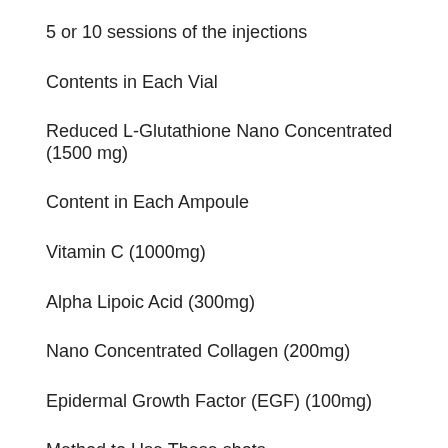5 or 10 sessions of the injections
Contents in Each Vial
Reduced L-Glutathione Nano Concentrated (1500 mg)
Content in Each Ampoule
Vitamin C (1000mg)
Alpha Lipoic Acid (300mg)
Nano Concentrated Collagen (200mg)
Epidermal Growth Factor (EGF) (100mg)
Method to Use These shots